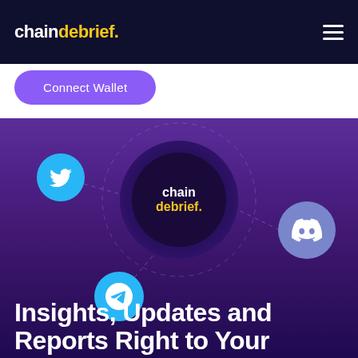chaindebrief.
Connect Wallet
[Figure (illustration): Chaindebrief hero illustration showing a central dark circle with 'chain debrief.' text in white and yellow, connected by dashed lines to three social media icons: Twitter (cyan circle, top left), Discord (light purple circle, right), and Telegram (cyan circle, bottom center), on a purple gradient background.]
Insights, Updates and Reports Right to Your